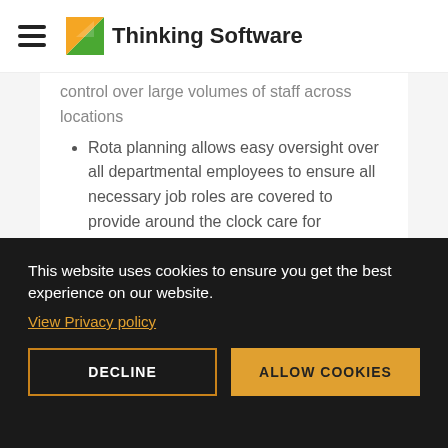Thinking Software
control over large volumes of staff across locations
Rota planning allows easy oversight over all departmental employees to ensure all necessary job roles are covered to provide around the clock care for residents
Easy management and oversight of paid
This website uses cookies to ensure you get the best experience on our website.
View Privacy policy
DECLINE
ALLOW COOKIES